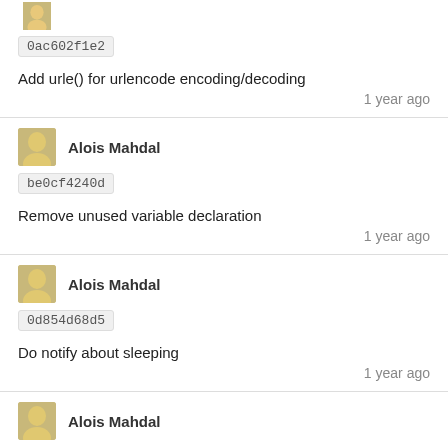[Figure (illustration): User avatar (partial, cropped at top) for first commit item]
0ac602f1e2
Add urle() for urlencode encoding/decoding
1 year ago
[Figure (illustration): User avatar for Alois Mahdal]
Alois Mahdal
be0cf4240d
Remove unused variable declaration
1 year ago
[Figure (illustration): User avatar for Alois Mahdal]
Alois Mahdal
0d854d68d5
Do notify about sleeping
1 year ago
[Figure (illustration): User avatar for Alois Mahdal (partial, cropped at bottom)]
Alois Mahdal